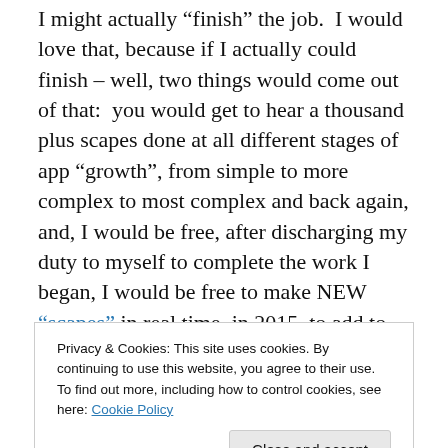I might actually “finish” the job.  I would love that, because if I actually could finish – well, two things would come out of that:  you would get to hear a thousand plus scapes done at all different stages of app “growth”, from simple to more complex to most complex and back again, and, I would be free, after discharging my duty to myself to complete the work I began, I would be free to make NEW “scapes” in real time, in 2015, to add to the collection.
And I think that might be the most interesting thing of all – to start all over, and go through the process again, and
Privacy & Cookies: This site uses cookies. By continuing to use this website, you agree to their use.
To find out more, including how to control cookies, see here: Cookie Policy
melodic events – and it’s a cacophonous mess, but oh, so